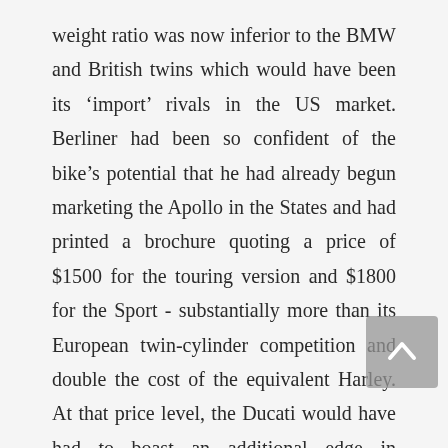weight ratio was now inferior to the BMW and British twins which would have been its 'import' rivals in the US market. Berliner had been so confident of the bike's potential that he had already begun marketing the Apollo in the States and had printed a brochure quoting a price of $1500 for the touring version and $1800 for the Sport - substantially more than its European twin-cylinder competition and double the cost of the equivalent Harley. At that price level, the Ducati would have had to boast an additional edge in performance to justify the extra cost but in detuned form, it could